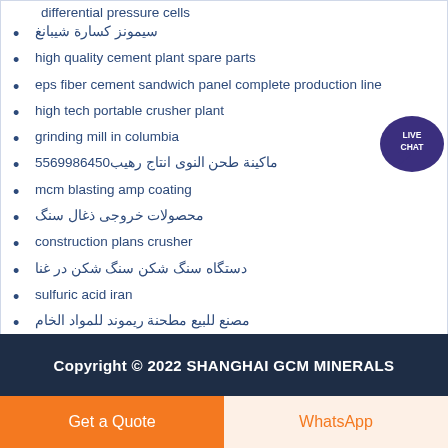differential pressure cells
سيمونز كسارة شيبانغ
high quality cement plant spare parts
eps fiber cement sandwich panel complete production line
high tech portable crusher plant
grinding mill in columbia
ماكينة طحن النوى انتاج رهيب0546899655
mcm blasting amp coating
محصولات خروجی ذغال سنگ
construction plans crusher
دستگاه سنگ شکن سنگ شکن در غنا
sulfuric acid iran
مصنع للبيع مطحنة ريموند للمواد الخام
Copyright © 2022 SHANGHAI GCM MINERALS
Get a Quote
WhatsApp